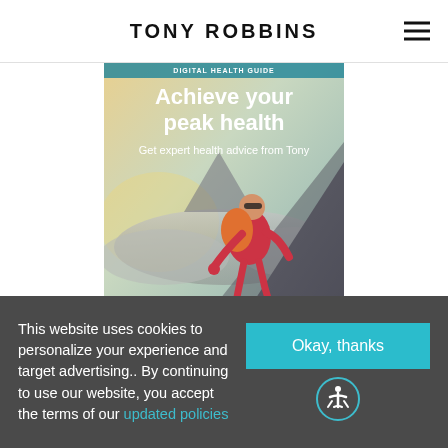TONY ROBBINS
[Figure (illustration): Book cover for Tony Robbins Digital Health Guide titled 'Achieve your peak health – Get expert health advice from Tony', showing a woman rock climbing with a backpack, mountain scenery with clouds below]
This website uses cookies to personalize your experience and target advertising.. By continuing to use our website, you accept the terms of our updated policies